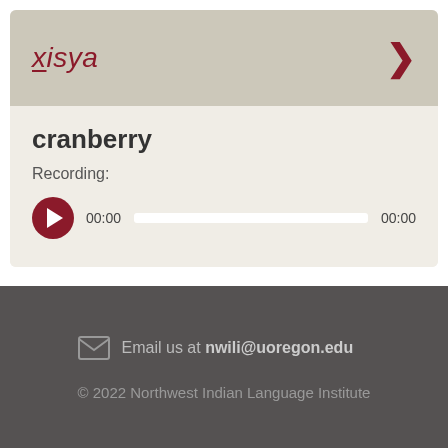xisya
cranberry
Recording:
[Figure (other): Audio player with play button, time display 00:00, progress bar, and end time 00:00]
Email us at nwili@uoregon.edu
© 2022 Northwest Indian Language Institute